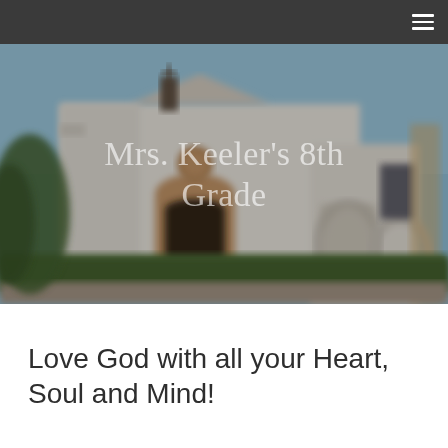[Figure (photo): Blurred exterior photo of a white Spanish mission-style church building with a cross on top, arched doorways, and green hedges in front, under a clear sky.]
Mrs. Keeler's 8th Grade
Love God with all your Heart, Soul and Mind!